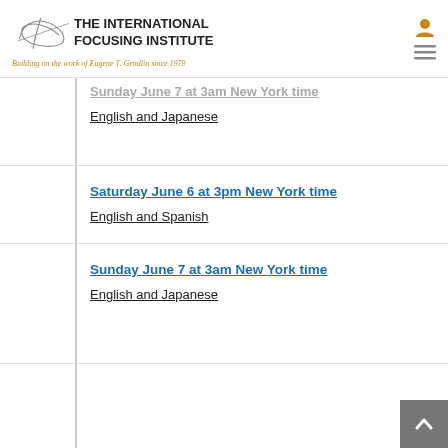THE INTERNATIONAL FOCUSING INSTITUTE — Building on the work of Eugene T. Gendlin since 1979
Sunday June 7 at 3am New York time
English and Japanese
Saturday June 6 at 3pm New York time
English and Spanish
Sunday June 7 at 3am New York time
English and Japanese